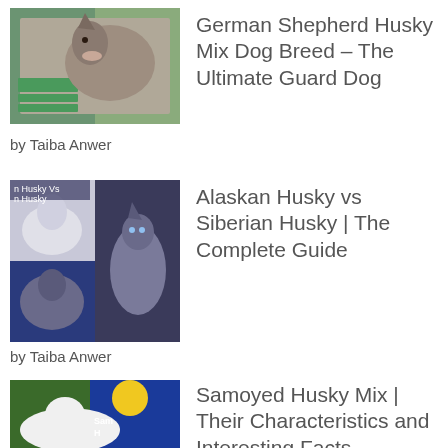[Figure (photo): Thumbnail of a German Shepherd Husky mix dog with green book cover overlay]
German Shepherd Husky Mix Dog Breed – The Ultimate Guard Dog
by Taiba Anwer
[Figure (photo): Thumbnail collage of Alaskan Husky vs Siberian Husky with text overlay on blue background]
Alaskan Husky vs Siberian Husky | The Complete Guide
by Taiba Anwer
[Figure (photo): Thumbnail of a white Samoyed dog on grass with blue background and yellow circle, text overlay]
Samoyed Husky Mix | Their Characteristics and Interesting Facts
by Ramsha
[Figure (photo): Thumbnail of a dark image with glowing eyes]
What is meant by fifth-